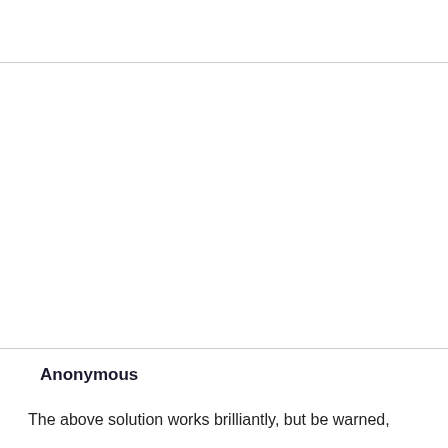Anonymous
The above solution works brilliantly, but be warned,